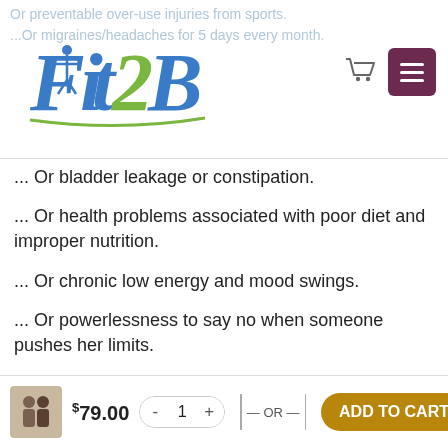Fit2B — website header with logo, cart icon, and menu button
... Or bladder leakage or constipation.
... Or health problems associated with poor diet and improper nutrition.
... Or chronic low energy and mood swings.
... Or powerlessness to say no when someone pushes her limits.
... Or fear of what might happen at the midwife or gynecologist's standard pelvic exam.
$79.00  - 1 +  — OR —  ADD TO CART